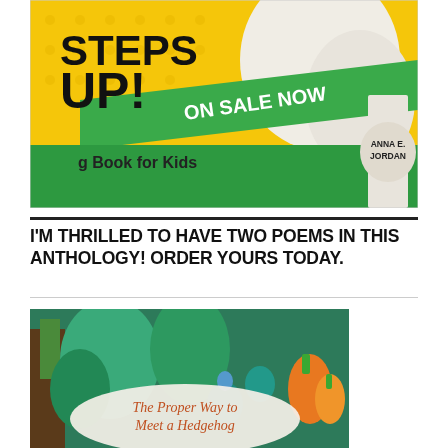[Figure (photo): Book cover advertisement showing a dog book titled with 'STEPS UP!' with green banner 'ON SALE NOW' and subtitle 'Book for Kids' by Anna E. Jordan, featuring a white dog on a yellow dotted background]
I'M THRILLED TO HAVE TWO POEMS IN THIS ANTHOLOGY! ORDER YOURS TODAY.
[Figure (photo): Book cover showing 'The Proper Way to Meet a Hedgehog' with illustrated forest animals in green, teal, and orange tones]